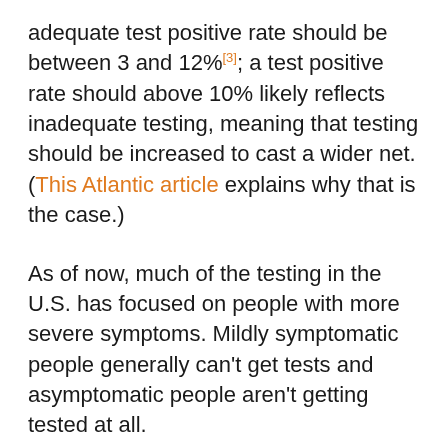adequate test positive rate should be between 3 and 12%[3]; a test positive rate should above 10% likely reflects inadequate testing, meaning that testing should be increased to cast a wider net. (This Atlantic article explains why that is the case.)
As of now, much of the testing in the U.S. has focused on people with more severe symptoms. Mildly symptomatic people generally can't get tests and asymptomatic people aren't getting tested at all.
If we begin by assuming that all 30,000 patients identified every day in the U.S. have serious enough symptoms to be tested and that